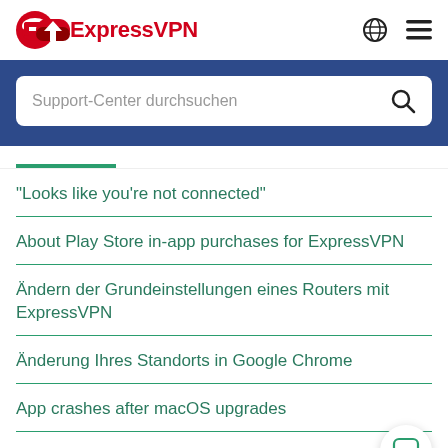ExpressVPN
[Figure (screenshot): ExpressVPN search bar with placeholder text 'Support-Center durchsuchen' on a blue background]
“Looks like you’re not connected”
About Play Store in-app purchases for ExpressVPN
Ändern der Grundeinstellungen eines Routers mit ExpressVPN
Änderung Ihres Standorts in Google Chrome
App crashes after macOS upgrades
App screen shows 'Your internet traffic is exposed'